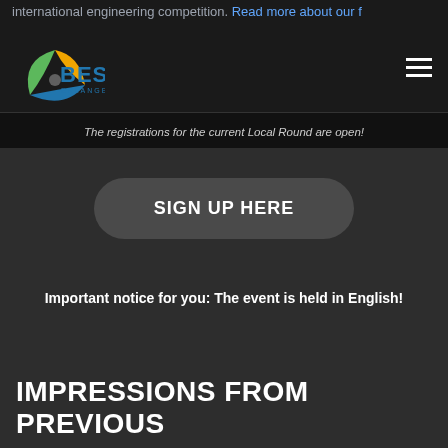international engineering competition. Read more about our f...
[Figure (logo): BEST Erlangen logo with colorful pinwheel icon and text]
The registrations for the current Local Round are open!
SIGN UP HERE
Important notice for you: The event is held in English!
IMPRESSIONS FROM PREVIOUS